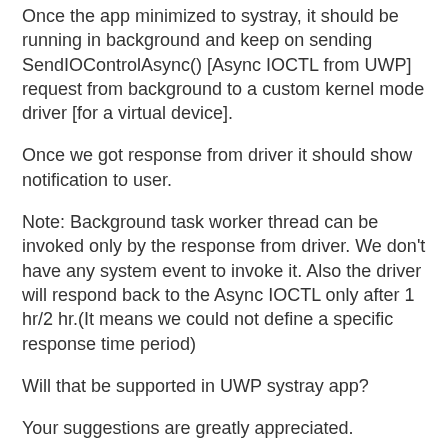Once the app minimized to systray, it should be running in background and keep on sending SendIOControlAsync() [Async IOCTL from UWP] request from background to a custom kernel mode driver [for a virtual device].
Once we got response from driver it should show notification to user.
Note: Background task worker thread can be invoked only by the response from driver. We don't have any system event to invoke it. Also the driver will respond back to the Async IOCTL only after 1 hr/2 hr.(It means we could not define a specific response time period)
Will that be supported in UWP systray app?
Your suggestions are greatly appreciated.